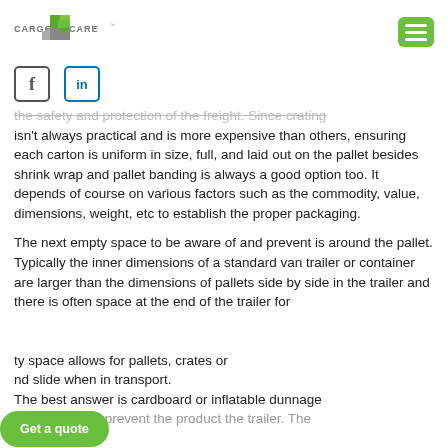CARGO CARE [logo]
[Figure (logo): Cargo Care logo with green and grey geometric shape and text]
[Figure (infographic): Facebook and LinkedIn social media icons]
the safety and protection of the freight. Since crating isn't always practical and is more expensive than others, ensuring each carton is uniform in size, full, and laid out on the pallet besides shrink wrap and pallet banding is always a good option too. It depends of course on various factors such as the commodity, value, dimensions, weight, etc to establish the proper packaging.
The next empty space to be aware of and prevent is around the pallet. Typically the inner dimensions of a standard van trailer or container are larger than the dimensions of pallets side by side in the trailer and there is often space at the end of the trailer for empty space allows for pallets, crates or and slide when in transport. The best answer is cardboard or inflatable dunnage placing it up to prevent the product the trailer. The